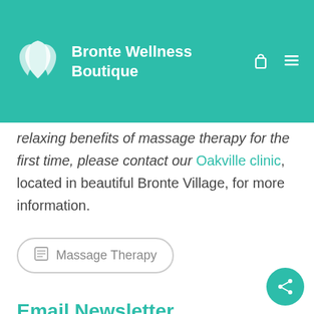Bronte Wellness Boutique
relaxing benefits of massage therapy for the first time, please contact our Oakville clinic, located in beautiful Bronte Village, for more information.
Massage Therapy
Email Newsletter
Enter Your Email